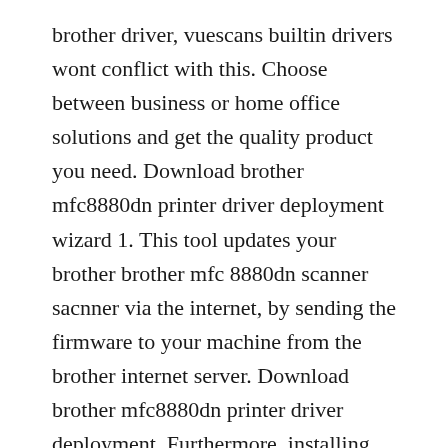brother driver, vuescans builtin drivers wont conflict with this. Choose between business or home office solutions and get the quality product you need. Download brother mfc8880dn printer driver deployment wizard 1. This tool updates your brother brother mfc 8880dn scanner sacnner via the internet, by sending the firmware to your machine from the brother internet server. Download brother mfc8880dn printer driver deployment. Furthermore, installing the wrong brother drivers can make these problems even worse. Brother mfc8880dn scanner scanner...